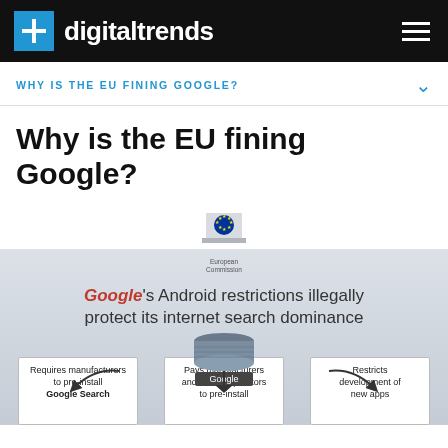digitaltrends
WHY IS THE EU FINING GOOGLE?
Why is the EU fining Google?
[Figure (infographic): European Commission infographic showing Google's Android restrictions illegally protect its internet search dominance. Includes a Google cylinder with arrows pointing to three boxes: 'Requires manufacturers to pre-install Google Search', 'Pays manufacturers and mobile operators to pre-install', and 'Restricts development of new apps'.]